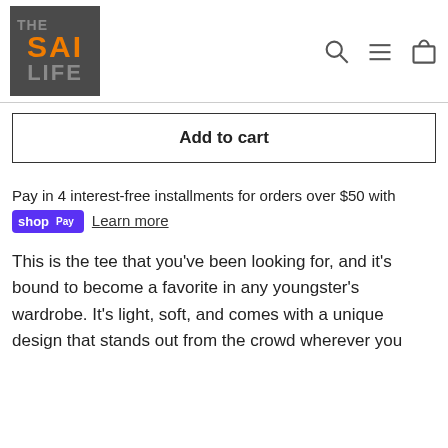[Figure (logo): The Sai Life logo — dark grey square background with THE in grey, SAI in orange, LIFE in grey, bold large letters]
Add to cart
Pay in 4 interest-free installments for orders over $50 with shop Pay Learn more
This is the tee that you've been looking for, and it's bound to become a favorite in any youngster's wardrobe. It's light, soft, and comes with a unique design that stands out from the crowd wherever you